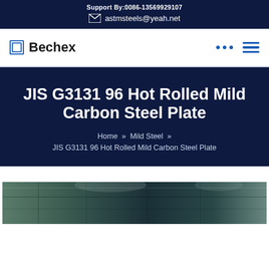Support By:0086-13569929107
astmsteels@yeah.net
Bechex
JIS G3131 96 Hot Rolled Mild Carbon Steel Plate
Home » Mild Steel » JIS G3131 96 Hot Rolled Mild Carbon Steel Plate
[Figure (photo): Warehouse or factory interior showing steel plates or metal products on shelving/racks with industrial ceiling structure visible]